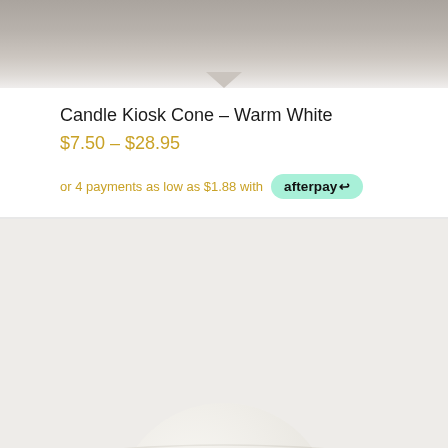[Figure (photo): Top portion of a product image showing a light grey/beige surface texture background]
Candle Kiosk Cone – Warm White
$7.50 – $28.95
or 4 payments as low as $1.88 with afterpay
[Figure (photo): A round white paper lantern/globe on a light grey background]